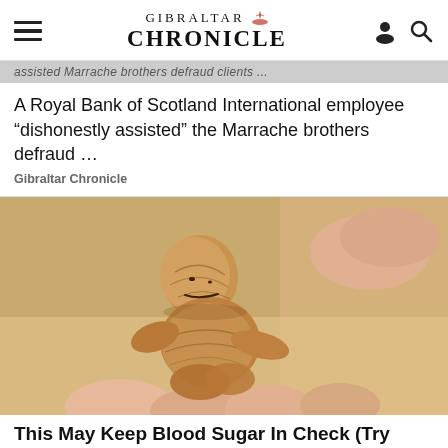GIBRALTAR CHRONICLE
A Royal Bank of Scotland International employee “dishonestly assisted” the Marrache brothers defraud …
Gibraltar Chronicle
[Figure (photo): A hand holding a walnut shaped like a human figure, golden-brown in color, held between fingers against a wooden background.]
This May Keep Blood Sugar In Check (Try